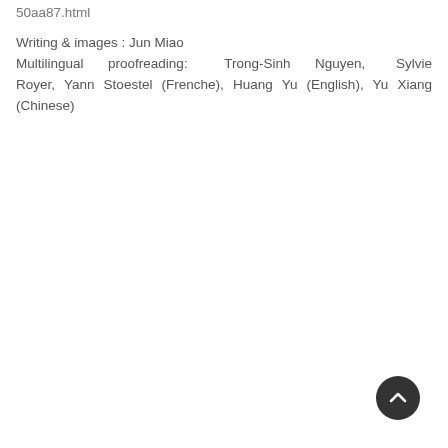50aa87.html
Writing & images : Jun Miao
Multilingual proofreading: Trong-Sinh Nguyen, Sylvie Royer, Yann Stoestel (Frenche), Huang Yu (English), Yu Xiang (Chinese)
[Figure (other): Scroll-to-top button, dark circular button with upward chevron arrow]